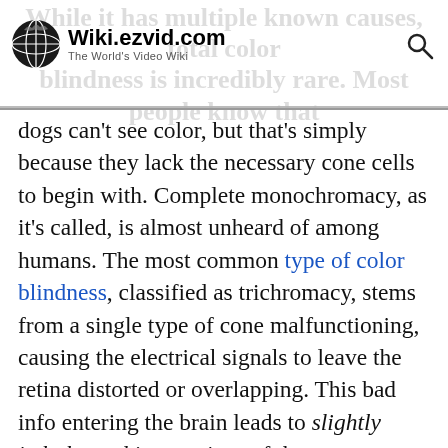Wiki.ezvid.com — The World's Video Wiki
dogs can't see color, but that's simply because they lack the necessary cone cells to begin with. Complete monochromacy, as it's called, is almost unheard of among humans. The most common type of color blindness, classified as trichromacy, stems from a single type of cone malfunctioning, causing the electrical signals to leave the retina distorted or overlapping. This bad info entering the brain leads to slightly imbalanced impressions of the aforementioned electromagnetic waves. That being said, while we know the "how" of color blindness, the "why" still eludes researchers somewhat; we're able to observe what happens to the occipital system, but we're still learning exactly